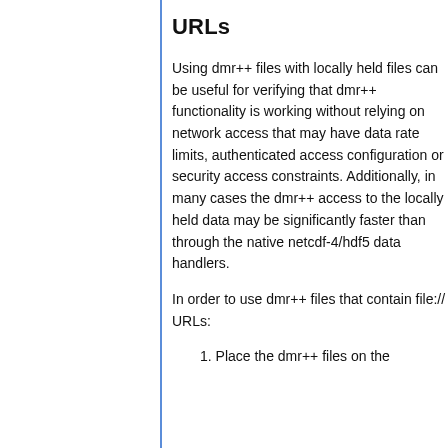URLs
Using dmr++ files with locally held files can be useful for verifying that dmr++ functionality is working without relying on network access that may have data rate limits, authenticated access configuration or security access constraints. Additionally, in many cases the dmr++ access to the locally held data may be significantly faster than through the native netcdf-4/hdf5 data handlers.
In order to use dmr++ files that contain file:// URLs:
1. Place the dmr++ files on the